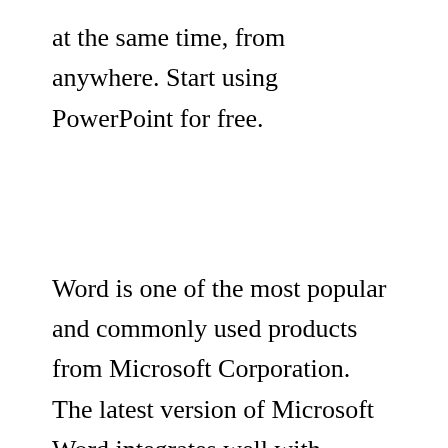at the same time, from anywhere. Start using PowerPoint for free.
Word is one of the most popular and commonly used products from Microsoft Corporation. The latest version of Microsoft Word integrates well with Microsoft Office and serves as a full-fledged document